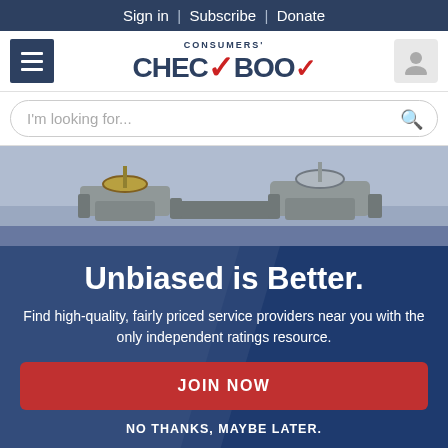Sign in | Subscribe | Donate
[Figure (logo): Consumers' Checkbook logo with red checkmark]
I'm looking for...
[Figure (photo): Industrial pipe valves on a blue-grey background]
Unbiased is Better.
Find high-quality, fairly priced service providers near you with the only independent ratings resource.
JOIN NOW
NO THANKS, MAYBE LATER.